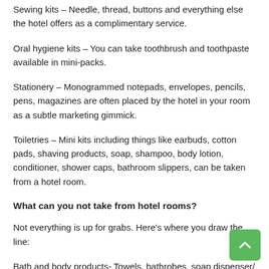Sewing kits – Needle, thread, buttons and everything else the hotel offers as a complimentary service.
Oral hygiene kits – You can take toothbrush and toothpaste available in mini-packs.
Stationery – Monogrammed notepads, envelopes, pencils, pens, magazines are often placed by the hotel in your room as a subtle marketing gimmick.
Toiletries – Mini kits including things like earbuds, cotton pads, shaving products, soap, shampoo, body lotion, conditioner, shower caps, bathroom slippers, can be taken from a hotel room.
What can you not take from hotel rooms?
Not everything is up for grabs. Here’s where you draw the line:
Bath and body products- Towels, bathrobes, soap dispenser/ holder, mirrors are off-limits.
Electrical appliances- Cable box, alarm clock, TV remote control, alarm clock, iron, tea kettle, hairdryer, etc are some items which